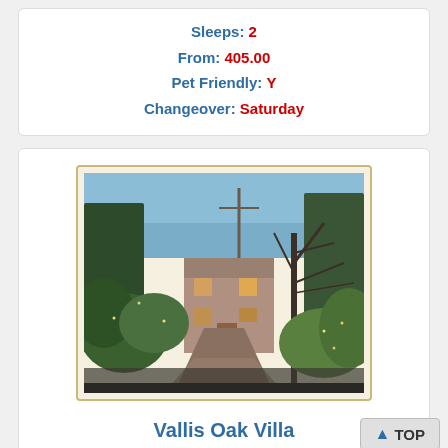Sleeps: 2
From: 405.00
Pet Friendly: Y
Changeover: Saturday
[Figure (photo): Exterior photo of Vallis Oak Villa at dusk, showing a driveway leading to a large house with bare winter trees decorated with fairy lights, surrounded by garden foliage.]
Vallis Oak Villa
Frome - 10.4 miles from Steeple Ashton Church